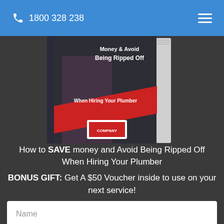1800 328 238
[Figure (photo): Book cover showing 'Money & Avoid Being Ripped Off When Hiring Your Plumber' with a plumber image and company logo]
How to SAVE money and Avoid Being Ripped Off When Hiring Your Plumber
BONUS GIFT: Get A $50 Voucher inside to use on your next service!
Name
Email